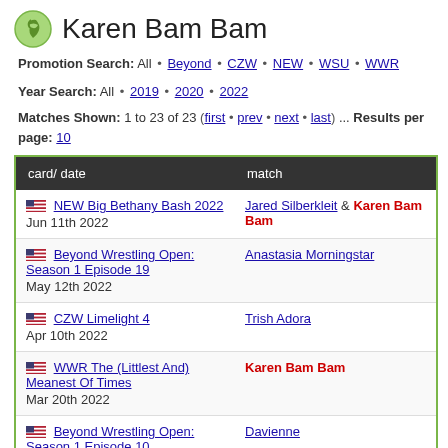Karen Bam Bam
Promotion Search: All • Beyond • CZW • NEW • WSU • WWR
Year Search: All • 2019 • 2020 • 2022
Matches Shown: 1 to 23 of 23 (first • prev • next • last) ... Results per page: 10
| card/ date | match |  |
| --- | --- | --- |
| NEW Big Bethany Bash 2022
Jun 11th 2022 | Jared Silberkleit & Karen Bam Bam | Def. |
| Beyond Wrestling Open: Season 1 Episode 19
May 12th 2022 | Anastasia Morningstar | Def. |
| CZW Limelight 4
Apr 10th 2022 | Trish Adora | Def. |
| WWR The (Littlest And) Meanest Of Times
Mar 20th 2022 | Karen Bam Bam | Def. |
| Beyond Wrestling Open: Season 1 Episode 10 | Davienne | Def. |